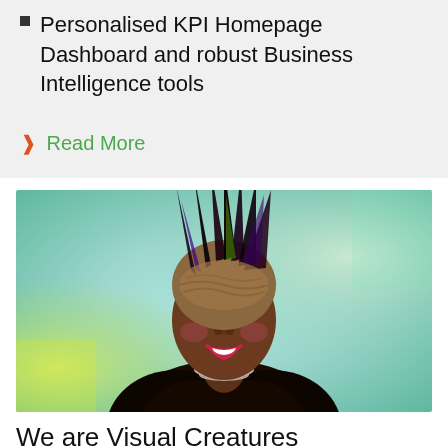Personalised KPI Homepage Dashboard and robust Business Intelligence tools
❱ Read More
[Figure (photo): Portrait photo of a smiling woman with striking upswept braided hair and traditional African attire, against a colorful teal and green gradient background.]
We are Visual Creatures